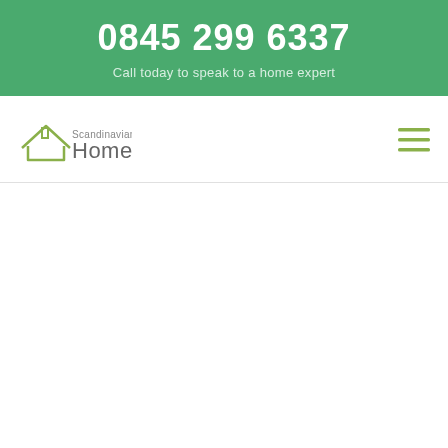0845 299 6337
Call today to speak to a home expert
[Figure (logo): Scandinavian Homes logo with house outline and text]
[Figure (other): Hamburger menu icon with three green horizontal lines]